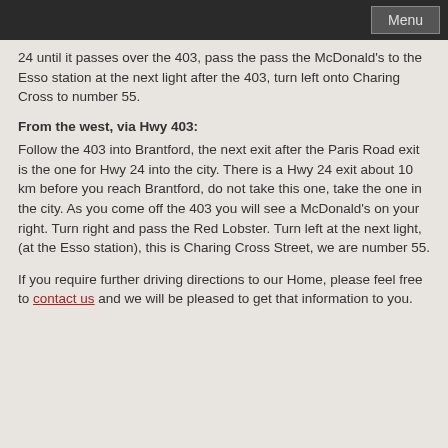Menu
24 until it passes over the 403, pass the pass the McDonald's to the Esso station at the next light after the 403, turn left onto Charing Cross to number 55.
From the west, via Hwy 403:
Follow the 403 into Brantford, the next exit after the Paris Road exit is the one for Hwy 24 into the city. There is a Hwy 24 exit about 10 km before you reach Brantford, do not take this one, take the one in the city. As you come off the 403 you will see a McDonald's on your right. Turn right and pass the Red Lobster. Turn left at the next light, (at the Esso station), this is Charing Cross Street, we are number 55.
If you require further driving directions to our Home, please feel free to contact us and we will be pleased to get that information to you.